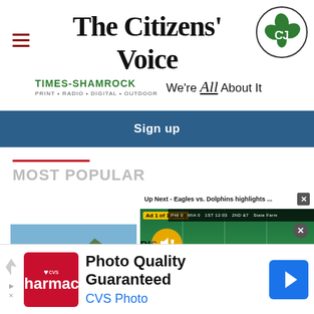The Citizens' Voice
TIMES-SHAMROCK PRINT • RADIO • DIGITAL • OUTDOOR We're All About It
Sign up
MOST POPULAR
[Figure (screenshot): Video overlay showing Eagles vs. Dolphins highlights with 'Up Next' header, ad badge '(0:15)', mute button, and football game footage]
[Figure (photo): Yosemite mountain landscape photo thumbnail]
[Figure (other): CVS Pharmacy advertisement banner: Photo Quality Guaranteed, CVS Photo]